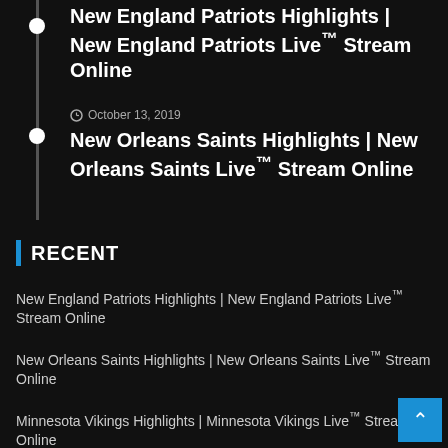October 13, 2019
New England Patriots Highlights | New England Patriots Live™ Stream Online
October 13, 2019
New Orleans Saints Highlights | New Orleans Saints Live™ Stream Online
RECENT
New England Patriots Highlights | New England Patriots Live™ Stream Online
New Orleans Saints Highlights | New Orleans Saints Live™ Stream Online
Minnesota Vikings Highlights | Minnesota Vikings Live™ Stream Online
Miami Dolphins Highlights | Miami Dolphins Live™ Str... Online